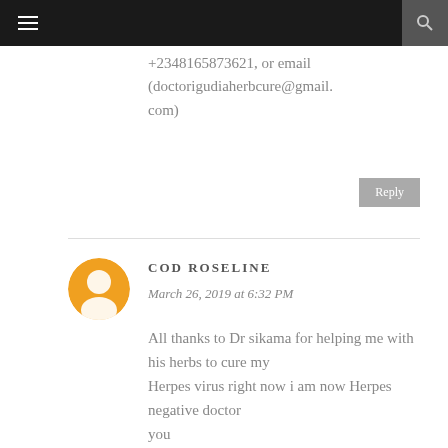≡ [navigation bar with menu and search]
+2348165873621, or email (doctorigudiaherbcure@gmail.com)
Reply
COD ROSELINE
March 26, 2019 at 6:32 PM
All thanks to Dr sikama for helping me with his herbs to cure my Herpes virus right now i am now Herpes negative doctor you